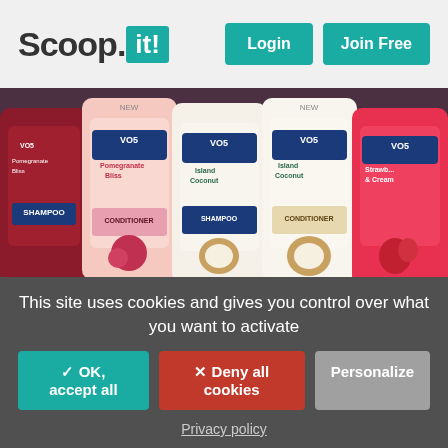Scoop.it! Login Join Free
[Figure (photo): Shelf display of Alberto VO5 shampoo and conditioner bottles in various scents: Pomegranate Bliss, Island Coconut, and Strawberry & Cream]
From apnews.com - July 18, 4:56 PM
This site uses cookies and gives you control over what you want to activate
✓ OK, accept all
✕ Deny all cookies
Personalize
Privacy policy